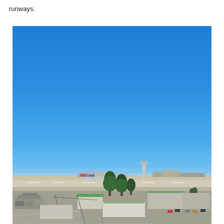runways.
[Figure (photo): Aerial/elevated view of Los Angeles International Airport (LAX) showing runways, airport buildings including the iconic Theme Building and control tower, aircraft on the tarmac, surrounding urban area with buildings, trees, and parked cars in the foreground. Clear blue sky dominates the upper portion of the image.]